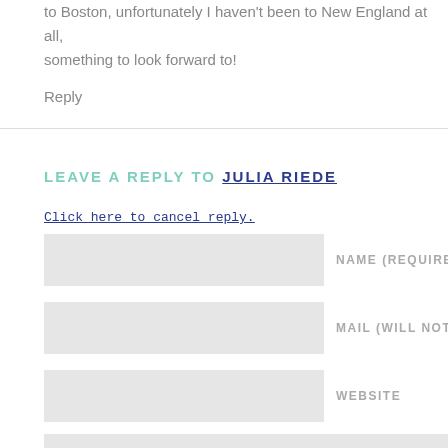to Boston, unfortunately I haven't been to New England at all, something to look forward to!
Reply
LEAVE A REPLY TO JULIA RIEDE
Click here to cancel reply.
NAME (REQUIRED)
MAIL (WILL NOT BE
WEBSITE